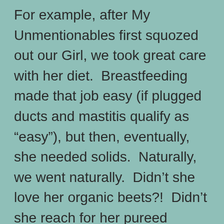For example, after My Unmentionables first squozed out our Girl, we took great care with her diet.  Breastfeeding made that job easy (if plugged ducts and mastitis qualify as “easy”), but then, eventually, she needed solids.  Naturally, we went naturally.  Didn’t she love her organic beets?!  Didn’t she reach for her pureed spinach and smooshed-up pears?!  Didn’t she smear locally-grown and home-prepared peas all over her rosy cheeks?!  And didn’t we assert our desire for her to get the best-possible start in life by keeping all processed sugar away from her for the first 16 months?